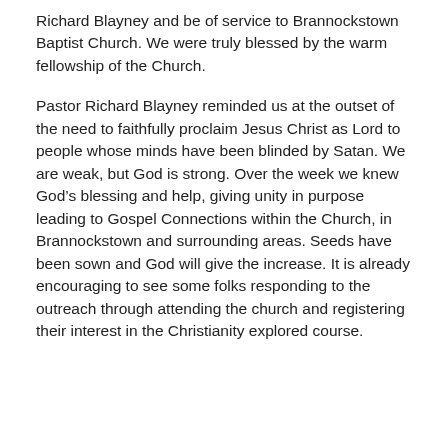Richard Blayney and be of service to Brannockstown Baptist Church. We were truly blessed by the warm fellowship of the Church.
Pastor Richard Blayney reminded us at the outset of the need to faithfully proclaim Jesus Christ as Lord to people whose minds have been blinded by Satan. We are weak, but God is strong. Over the week we knew God’s blessing and help, giving unity in purpose leading to Gospel Connections within the Church, in Brannockstown and surrounding areas. Seeds have been sown and God will give the increase. It is already encouraging to see some folks responding to the outreach through attending the church and registering their interest in the Christianity explored course.